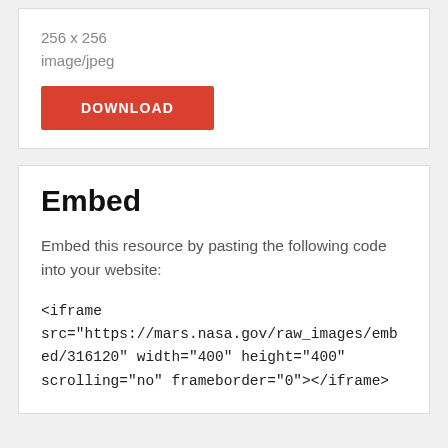256 x 256
image/jpeg
DOWNLOAD
Embed
Embed this resource by pasting the following code into your website:
<iframe src="https://mars.nasa.gov/raw_images/embed/316120" width="400" height="400" scrolling="no" frameborder="0"></iframe>